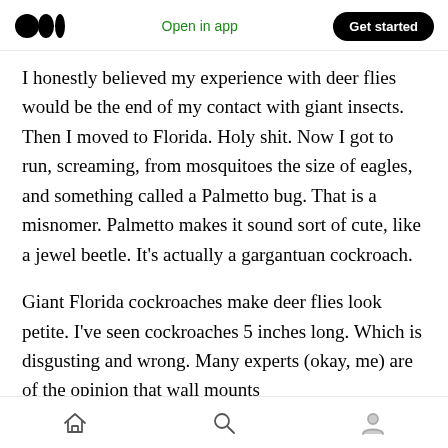Open in app | Get started
I honestly believed my experience with deer flies would be the end of my contact with giant insects. Then I moved to Florida. Holy shit. Now I got to run, screaming, from mosquitoes the size of eagles, and something called a Palmetto bug. That is a misnomer. Palmetto makes it sound sort of cute, like a jewel beetle. It’s actually a gargantuan cockroach.
Giant Florida cockroaches make deer flies look petite. I’ve seen cockroaches 5 inches long. Which is disgusting and wrong. Many experts (okay, me) are of the opinion that wall mounts
Home | Search | Profile